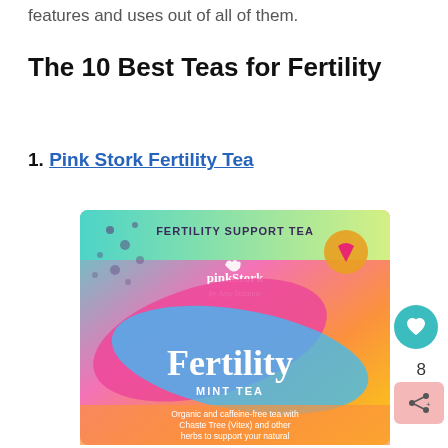features and uses out of all of them.
The 10 Best Teas for Fertility
1. Pink Stork Fertility Tea
[Figure (photo): Pink Stork Fertility Mint Tea product package with colorful gradient design (teal, pink, yellow, orange). Text on package: FERTILITY SUPPORT TEA, pinkStork, Fertility, MINT TEA, Organic and caffeine-free tea with Chaste Tree (Vitex) and other herbs to support your natural]